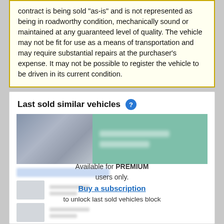contract is being sold "as-is" and is not represented as being in roadworthy condition, mechanically sound or maintained at any guaranteed level of quality. The vehicle may not be fit for use as a means of transportation and may require substantial repairs at the purchaser's expense. It may not be possible to register the vehicle to be driven in its current condition.
Last sold similar vehicles
[Figure (screenshot): A blurred vehicle listing card showing a photo of a blue/grey car on the left and teal/green blurred info panel on the right, with subscription gating overlay showing 'Available for PREMIUM users only. Buy a subscription to unlock last sold vehicles block.']
Available for PREMIUM users only. Buy a subscription to unlock last sold vehicles block.